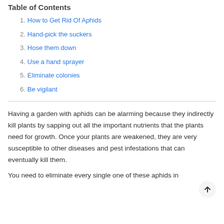Table of Contents
1. How to Get Rid Of Aphids
2. Hand-pick the suckers
3. Hose them down
4. Use a hand sprayer
5. Eliminate colonies
6. Be vigilant
Having a garden with aphids can be alarming because they indirectly kill plants by sapping out all the important nutrients that the plants need for growth. Once your plants are weakened, they are very susceptible to other diseases and pest infestations that can eventually kill them.
You need to eliminate every single one of these aphids in